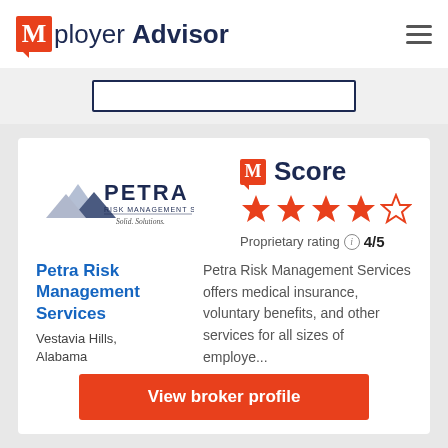Mployer Advisor
[Figure (logo): Petra Risk Management Services logo with mountain graphic and text 'PETRA RISK MANAGEMENT SERVICES, Solid. Solutions.']
M Score ★★★★☆ Proprietary rating ⓘ 4/5
Petra Risk Management Services
Vestavia Hills, Alabama
Petra Risk Management Services offers medical insurance, voluntary benefits, and other services for all sizes of employe...
View broker profile